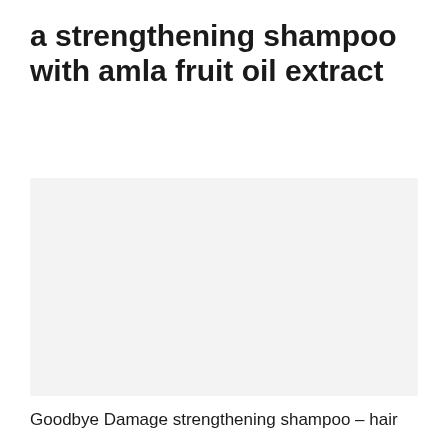a strengthening shampoo with amla fruit oil extract
[Figure (photo): Product image placeholder showing a shampoo bottle — light gray background, no visible content]
Goodbye Damage strengthening shampoo – hair